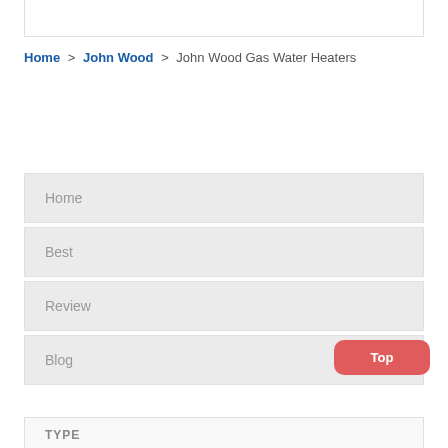Home > John Wood > John Wood Gas Water Heaters
Home
Best
Review
Blog
Top
TYPE